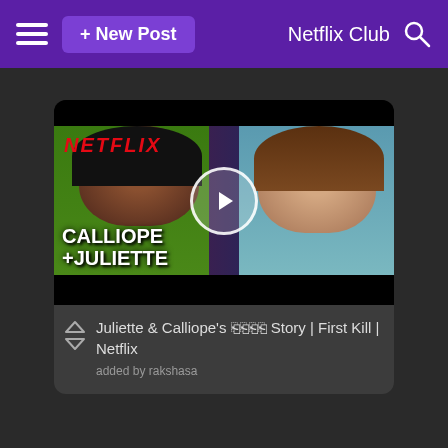≡  + New Post    Netflix Club 🔍
[Figure (screenshot): Video thumbnail showing two young women (Calliope and Juliette) with NETFLIX logo top-left, play button in center, and 'CALLIOPE + JULIETTE' text overlay at bottom. From Netflix show 'First Kill'.]
Juliette & Calliope's 🔲🔲🔲🔲 Story | First Kill | Netflix
added by rakshasa